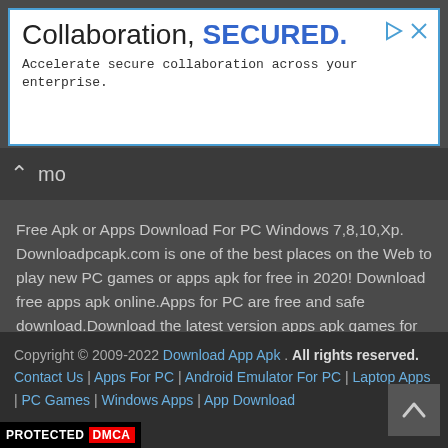[Figure (screenshot): Advertisement banner with text 'Collaboration, SECURED.' and subtitle 'Accelerate secure collaboration across your enterprise.' with play and close icons in top-right corner.]
mo
Free Apk or Apps Download For PC Windows 7,8,10,Xp. Downloadpcapk.com is one of the best places on the Web to play new PC games or apps apk for free in 2020! Download free apps apk online.Apps for PC are free and safe download.Download the latest version apps apk games for PC and Laptop. To download these games,apk or apps,you need to download the best android emulator:XePlayer first. XePlayer help you download and install Android apps and games for your Windows PC.
Copyright © 2009-2022 Download App Apk . All rights reserved. Contact Us | Apps For PC | Android Emulator For PC | Laptop Apps | PC Games | Windows Apps | App Download
[Figure (logo): PROTECTED DMCA badge in black background with red DMCA text]